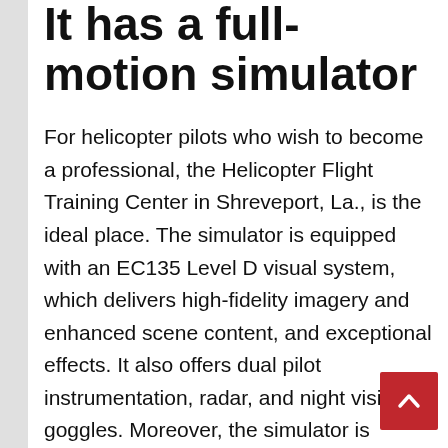It has a full-motion simulator
For helicopter pilots who wish to become a professional, the Helicopter Flight Training Center in Shreveport, La., is the ideal place. The simulator is equipped with an EC135 Level D visual system, which delivers high-fidelity imagery and enhanced scene content, and exceptional effects. It also offers dual pilot instrumentation, radar, and night vision goggles. Moreover, the simulator is equipped with a CommLab, which allows communications specialists to practice and develop a customized training program.
Final Words: